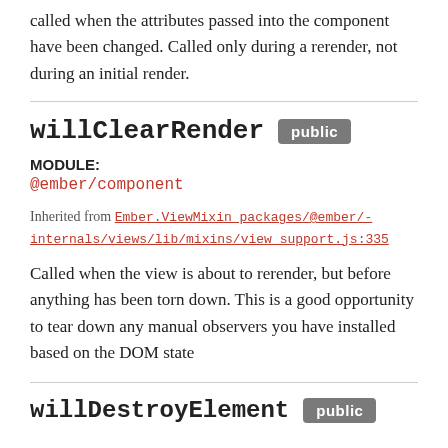called when the attributes passed into the component have been changed. Called only during a rerender, not during an initial render.
willClearRender public
MODULE:
@ember/component
Inherited from Ember.ViewMixin packages/@ember/-internals/views/lib/mixins/view_support.js:335
Called when the view is about to rerender, but before anything has been torn down. This is a good opportunity to tear down any manual observers you have installed based on the DOM state
willDestroyElement public